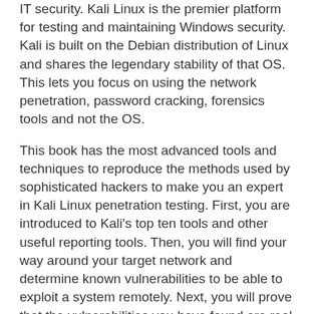IT security. Kali Linux is the premier platform for testing and maintaining Windows security. Kali is built on the Debian distribution of Linux and shares the legendary stability of that OS. This lets you focus on using the network penetration, password cracking, forensics tools and not the OS.
This book has the most advanced tools and techniques to reproduce the methods used by sophisticated hackers to make you an expert in Kali Linux penetration testing. First, you are introduced to Kali's top ten tools and other useful reporting tools. Then, you will find your way around your target network and determine known vulnerabilities to be able to exploit a system remotely. Next, you will prove that the vulnerabilities you have found are real and exploitable. You will learn to use tools in seven categories of exploitation tools. Further, you perform web access exploits using tools like websploit and more. Security is only as strong as the weakest link in the chain. Passwords are often that